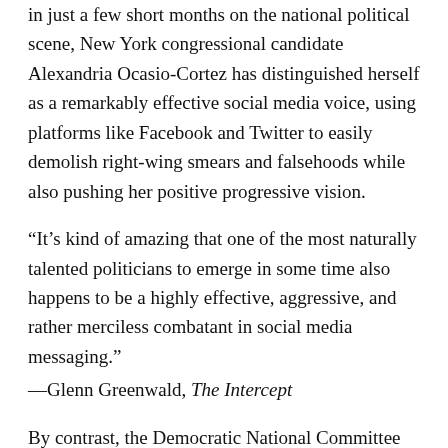in just a few short months on the national political scene, New York congressional candidate Alexandria Ocasio-Cortez has distinguished herself as a remarkably effective social media voice, using platforms like Facebook and Twitter to easily demolish right-wing smears and falsehoods while also pushing her positive progressive vision.
“It’s kind of amazing that one of the most naturally talented politicians to emerge in some time also happens to be a highly effective, aggressive, and rather merciless combatant in social media messaging.” —Glenn Greenwald, The Intercept
By contrast, the Democratic National Committee (DNC)—with midterm elections looming—has a relatively paltry social media presence and is notorious for its horrendous messaging, leading some prominent progressives to suggest that the DNC should immediately hand its accounts over to Ocasio-Cortez, who defeated Rep. Joe Crowley (D-